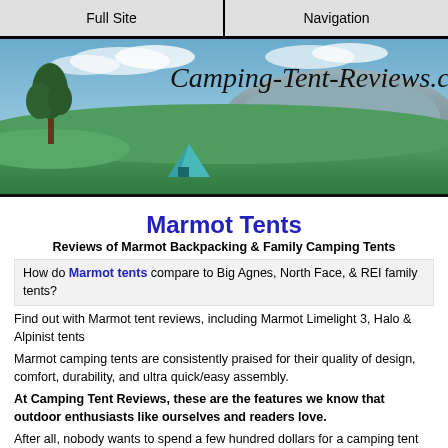Full Site | Navigation
[Figure (photo): Banner image for Camping-Tent-Reviews.com showing a green meadow with a blue/teal tent, a tree, mountains in the background, and the site logo text in a handwritten font]
Marmot Tents
Reviews of Marmot Backpacking & Family Camping Tents
How do Marmot tents compare to Big Agnes, North Face, & REI family tents?
Find out with Marmot tent reviews, including Marmot Limelight 3, Halo & Alpinist tents
Marmot camping tents are consistently praised for their quality of design, comfort, durability, and ultra quick/easy assembly.
At Camping Tent Reviews, these are the features we know that outdoor enthusiasts like ourselves and readers love.
After all, nobody wants to spend a few hundred dollars for a camping tent that's uncomfortable, takes an hour to pitch, and will turn your air mattress or Thermarest into a water bed.
Add in the incredible versatility and portability (especially the Marmot